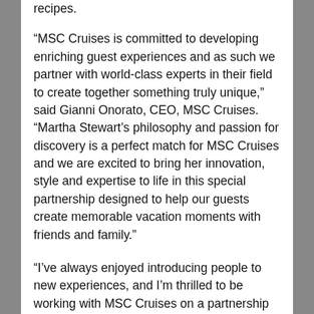recipes.
“MSC Cruises is committed to developing enriching guest experiences and as such we partner with world-class experts in their field to create together something truly unique,” said Gianni Onorato, CEO, MSC Cruises. “Martha Stewart’s philosophy and passion for discovery is a perfect match for MSC Cruises and we are excited to bring her innovation, style and expertise to life in this special partnership designed to help our guests create memorable vacation moments with friends and family.”
“I’ve always enjoyed introducing people to new experiences, and I’m thrilled to be working with MSC Cruises on a partnership that embodies the true celebratory nature of travel, exploration and discovery,” said Martha Stewart. “The excursions showcase some of my favorite activities and help MSC Cruises’ guests discover some of the authentic and hidden treasures of destinations throughout the Caribbean. The holiday dinner menus and surprise gift packages